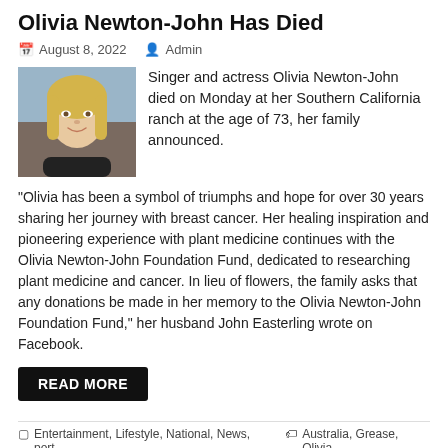Olivia Newton-John Has Died
August 8, 2022   Admin
[Figure (photo): Photo of Olivia Newton-John, a woman with blonde hair smiling]
Singer and actress Olivia Newton-John died on Monday at her Southern California ranch at the age of 73, her family announced.
“Olivia has been a symbol of triumphs and hope for over 30 years sharing her journey with breast cancer. Her healing inspiration and pioneering experience with plant medicine continues with the Olivia Newton-John Foundation Fund, dedicated to researching plant medicine and cancer. In lieu of flowers, the family asks that any donations be made in her memory to the Olivia Newton-John Foundation Fund,” her husband John Easterling wrote on Facebook.
READ MORE
Entertainment, Lifestyle, National, News, port   Australia, Grease, Olivia Newton John, Xanadu   Leave a comment